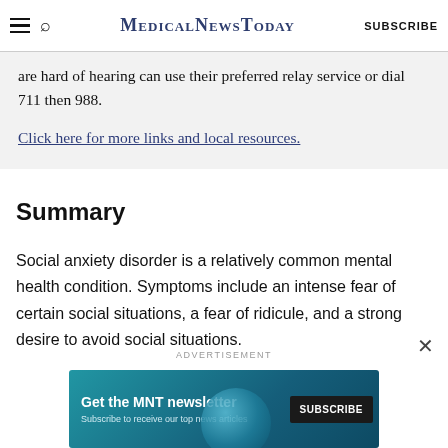MedicalNewsToday  SUBSCRIBE
are hard of hearing can use their preferred relay service or dial 711 then 988.
Click here for more links and local resources.
Summary
Social anxiety disorder is a relatively common mental health condition. Symptoms include an intense fear of certain social situations, a fear of ridicule, and a strong desire to avoid social situations.
ADVERTISEMENT
[Figure (other): MNT newsletter advertisement banner with 'Get the MNT newsletter' text and SUBSCRIBE button]